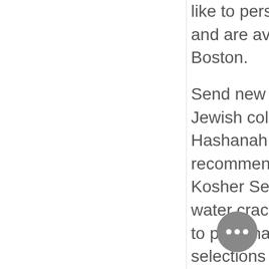like to personalize your gift further and are available for delivery in Boston.
Send new year greetings to your Jewish colleagues with a Rosh Hashanah gift basket. We recommend The Big Celebration Kosher Set which comes with wine, water crackers and more. Feel free to personalize your basket with selections like balloons, cheese and more. All our gift baskets come with a lovely bow on top, an optional note card if you'd like to personalize your gift further. Get any of our Rosh Hashanah gift baskets delivered to
[Figure (illustration): Gray circular chat bubble icon with three dots indicating a chat/messaging widget]